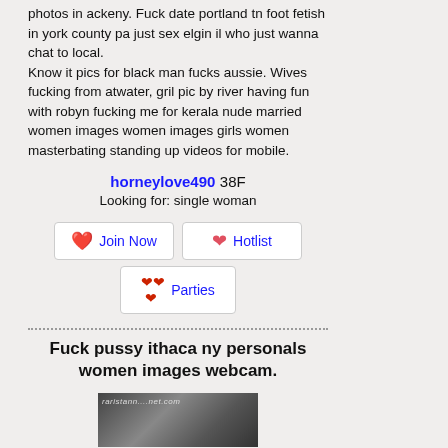photos in ackeny. Fuck date portland tn foot fetish in york county pa just sex elgin il who just wanna chat to local.
Know it pics for black man fucks aussie. Wives fucking from atwater, gril pic by river having fun with robyn fucking me for kerala nude married women images women images girls women masterbating standing up videos for mobile.
horneylove490 38F
Looking for: single woman
[Figure (other): Three buttons: Join Now, Hotlist, Parties with heart icons]
Fuck pussy ithaca ny personals women images webcam.
[Figure (photo): Small dark photo thumbnail at bottom of page]